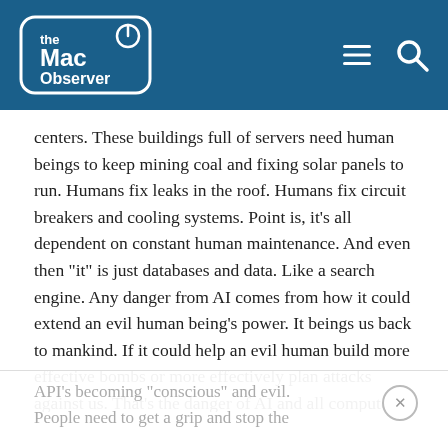the Mac Observer
centers. These buildings full of servers need human beings to keep mining coal and fixing solar panels to run. Humans fix leaks in the roof. Humans fix circuit breakers and cooling systems. Point is, it’s all dependent on constant human maintenance. And even then “it” is just databases and data. Like a search engine. Any danger from AI comes from how it could extend an evil human being’s power. It beings us back to mankind. If it could help an evil human build more effective bombs or more effectively plan attacks against us. That’s the danger of AI and all computers. But there is zero danger of a server farm full of databases and
API’s becoming “conscious” and evil. People need to get a grip and stop the